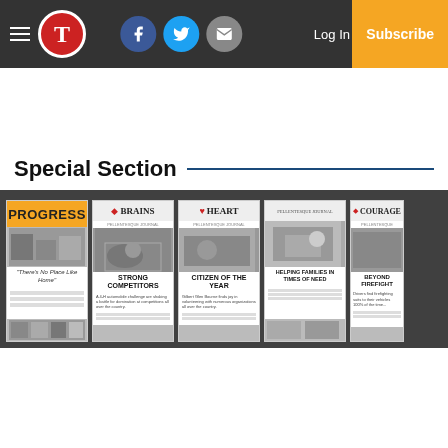T [Logo] | Facebook | Twitter | Email | Log In | Subscribe
Special Section
[Figure (other): Five newspaper section front-page thumbnails displayed in a dark gray band: PROGRESS ('There's No Place Like Home'), BRAINS / STRONG COMPETITORS, HEART / CITIZEN OF THE YEAR, HELPING FAMILIES IN TIMES OF NEED, COURAGE / BEYOND FIREFIGHTING]